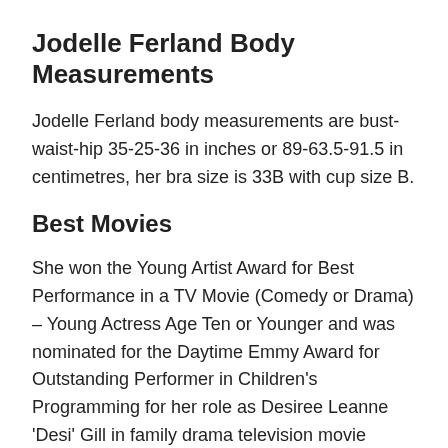Jodelle Ferland Body Measurements
Jodelle Ferland body measurements are bust-waist-hip 35-25-36 in inches or 89-63.5-91.5 in centimetres, her bra size is 33B with cup size B.
Best Movies
She won the Young Artist Award for Best Performance in a TV Movie (Comedy or Drama) – Young Actress Age Ten or Younger and was nominated for the Daytime Emmy Award for Outstanding Performer in Children's Programming for her role as Desiree Leanne 'Desi' Gill in family drama television movie Mermaid (2000).
She was nominated for the Saturn Award for Best Performance by a Younger Actor and a Genie Award for Best Performance by an Actress in a Leading Role for her role as Jeliza-Rose in neo-noir fantasy horror film Tideland (2005), also voices Sateen Lips, Glitter Gal,